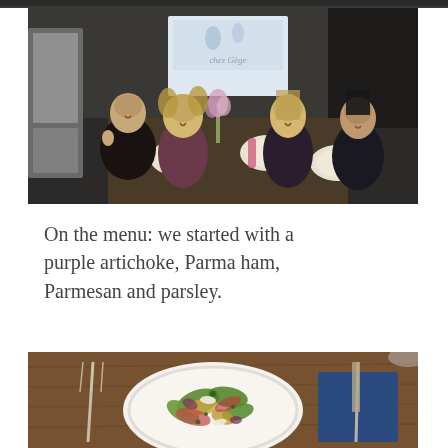[Figure (photo): Partial view of a dark scene at the top edge of the page, cropped]
[Figure (photo): Four women sitting around a dinner table in a restaurant setting with a 'chez Gege' poster in the background. The table is set with plates, utensils, and a floral centerpiece.]
On the menu: we started with a purple artichoke, Parma ham, Parmesan and parsley.
[Figure (photo): A white plate with a colorful salad featuring purple artichoke, Parma ham, Parmesan and parsley, set on a wooden table with a blue napkin and silverware.]